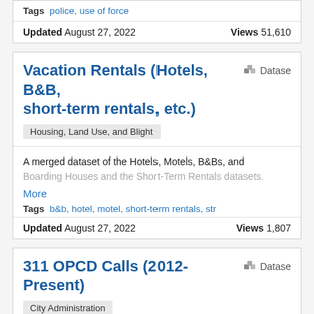Tags  police, use of force
Updated August 27, 2022    Views 51,610
Vacation Rentals (Hotels, B&B, short-term rentals, etc.)
Datase
Housing, Land Use, and Blight
A merged dataset of the Hotels, Motels, B&Bs, and Boarding Houses and the Short-Term Rentals datasets. More
Tags  b&b, hotel, motel, short-term rentals, str
Updated August 27, 2022    Views 1,807
311 OPCD Calls (2012-Present)
Datase
City Administration
This dataset represents calls to the Orleans Parish